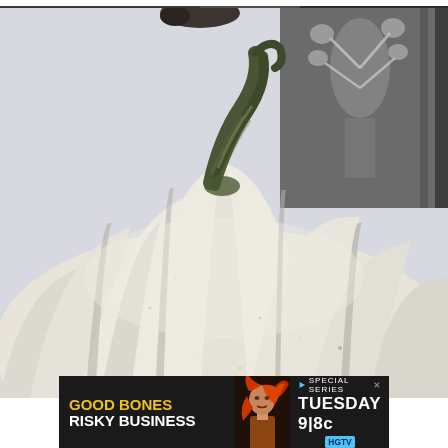[Figure (photo): Top strip showing partial view of decorative items including dark round objects and foliage against a light background]
[Figure (photo): Close-up photograph of a large white/cream pumpkin with a dark green dried stem, placed on a light surface. A dark gray decorative pillow with white floral pattern is visible in the background upper right.]
[Figure (photo): Advertisement banner for HGTV show 'Good Bones Risky Business' - Special Series Tuesday 9|8c. Features show logo in yellow and white text on dark background, a woman with red hair, and HGTV logo in teal.]